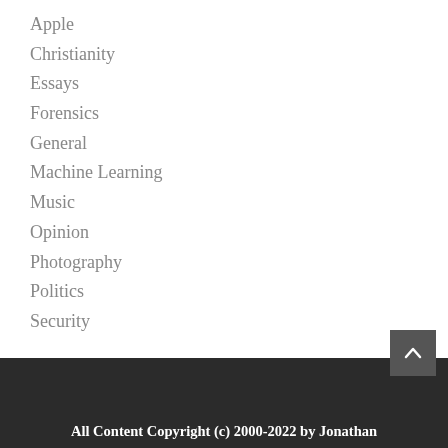Apple
Christianity
Essays
Forensics
General
Machine Learning
Music
Opinion
Photography
Politics
Security
All Content Copyright (c) 2000-2022 by Jonathan